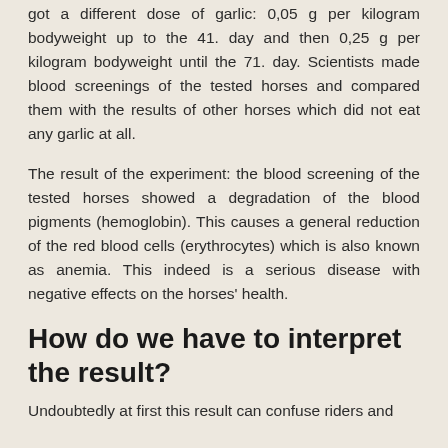got a different dose of garlic: 0,05 g per kilogram bodyweight up to the 41. day and then 0,25 g per kilogram bodyweight until the 71. day. Scientists made blood screenings of the tested horses and compared them with the results of other horses which did not eat any garlic at all.
The result of the experiment: the blood screening of the tested horses showed a degradation of the blood pigments (hemoglobin). This causes a general reduction of the red blood cells (erythrocytes) which is also known as anemia. This indeed is a serious disease with negative effects on the horses' health.
How do we have to interpret the result?
Undoubtedly at first this result can confuse riders and